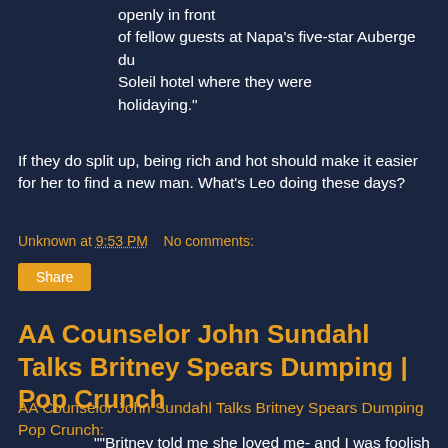openly in front of fellow guests at Napa's five-star Auberge du Soleil hotel where they were holidaying."
If they do split up, being rich and hot should make it easier for her to find a new man. What's Leo doing these days?
Unknown at 9:53 PM    No comments:
Share
AA Counselor John Sundahl Talks Britney Spears Dumping | Pop Crunch
AA Counselor John Sundahl Talks Britney Spears Dumping Pop Crunch:
""Britney told me she loved me- and I was foolish